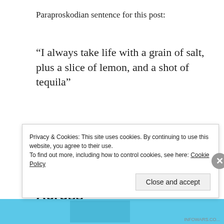Paraproskodian sentence for this post:
“I always take life with a grain of salt, plus a slice of lemon, and a shot of tequila”
Could Mass Marches Across America
Privacy & Cookies: This site uses cookies. By continuing to use this website, you agree to their use.
To find out more, including how to control cookies, see here: Cookie Policy
Close and accept